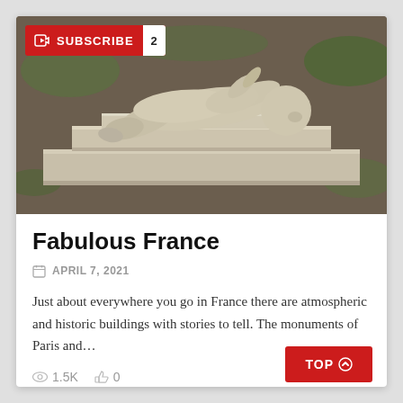[Figure (photo): A stone sculpture of a reclining figure (child or cherub) lying on a stepped marble pedestal, photographed outdoors with grass and dirt ground visible in the background.]
Fabulous France
APRIL 7, 2021
Just about everywhere you go in France there are atmospheric and historic buildings with stories to tell. The monuments of Paris and...
1.5K   0